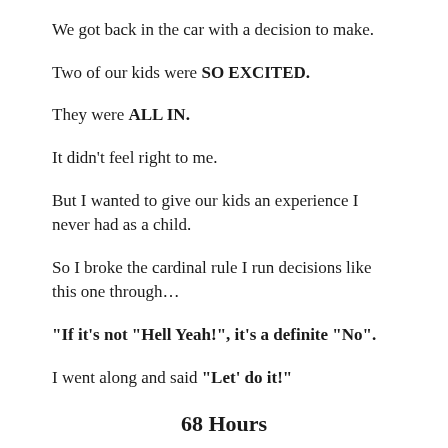We got back in the car with a decision to make.
Two of our kids were SO EXCITED.
They were ALL IN.
It didn’t feel right to me.
But I wanted to give our kids an experience I never had as a child.
So I broke the cardinal rule I run decisions like this one through…
“If it’s not “Hell Yeah!”, it’s a definite “No”.
I went along and said “Let’ do it!”
68 Hours